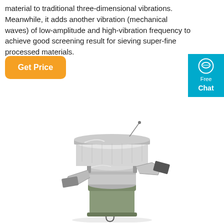material to traditional three-dimensional vibrations. Meanwhile, it adds another vibration (mechanical waves) of low-amplitude and high-vibration frequency to achieve good screening result for sieving super-fine processed materials.
[Figure (other): Orange rounded rectangle button with white text 'Get Price']
[Figure (other): Blue chat widget with speech bubble icon and text 'Free Chat']
[Figure (photo): Photo of an industrial vibrating sieve / screening machine made of stainless steel with a cylindrical body in gray/green and multiple output spouts]